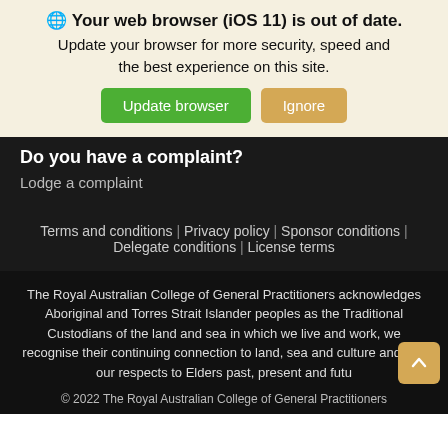[Figure (screenshot): Browser update banner with globe icon, title 'Your web browser (iOS 11) is out of date.', subtitle text, and two buttons: 'Update browser' (green) and 'Ignore' (tan)]
Do you have a complaint?
Lodge a complaint
Terms and conditions | Privacy policy | Sponsor conditions | Delegate conditions | License terms
The Royal Australian College of General Practitioners acknowledges Aboriginal and Torres Strait Islander peoples as the Traditional Custodians of the land and sea in which we live and work, we recognise their continuing connection to land, sea and culture and pay our respects to Elders past, present and futu...
© 2022 The Royal Australian College of General Practitioners